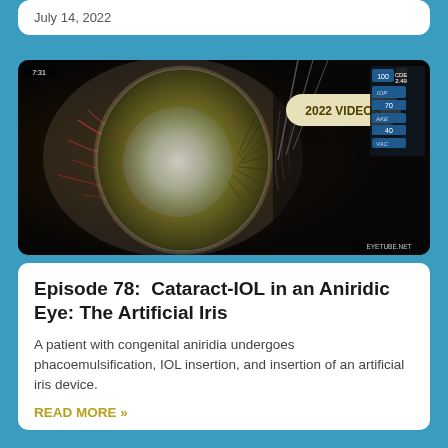July 14, 2022
[Figure (photo): Surgical video still of an eye undergoing cataract surgery with IOL insertion, showing close-up of the anterior segment with instruments visible. Overlay badge reads '2022 VIDEOS'. HUD panel in top-right shows CDE 2.49, IOP 70, AKE 40, VAC 65.]
Episode 78:  Cataract-IOL in an Aniridic Eye: The Artificial Iris
A patient with congenital aniridia undergoes phacoemulsification, IOL insertion, and insertion of an artificial iris device.
READ MORE »